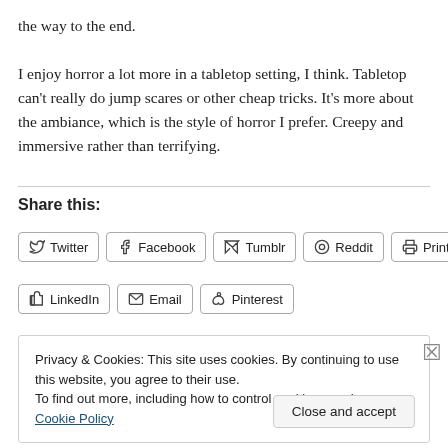the way to the end.
I enjoy horror a lot more in a tabletop setting, I think. Tabletop can't really do jump scares or other cheap tricks. It's more about the ambiance, which is the style of horror I prefer. Creepy and immersive rather than terrifying.
Share this:
Twitter | Facebook | Tumblr | Reddit | Print | LinkedIn | Email | Pinterest
Privacy & Cookies: This site uses cookies. By continuing to use this website, you agree to their use. To find out more, including how to control cookies, see here: Cookie Policy
Close and accept